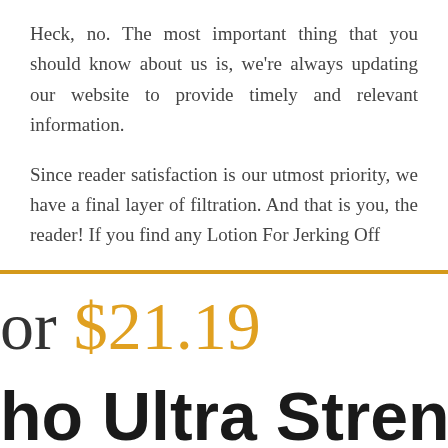Heck, no. The most important thing that you should know about us is, we're always updating our website to provide timely and relevant information.
Since reader satisfaction is our utmost priority, we have a final layer of filtration. And that is you, the reader! If you find any Lotion For Jerking Off
or $21.19
ho Ultra Strength